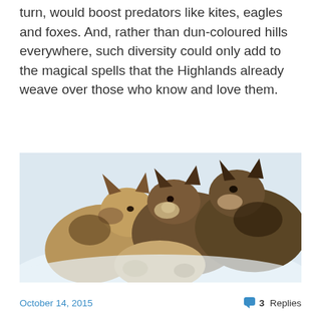turn, would boost predators like kites, eagles and foxes. And, rather than dun-coloured hills everywhere, such diversity could only add to the magical spells that the Highlands already weave over those who know and love them.
[Figure (photo): A group of wolves huddled together in a snowy winter landscape, appearing to nuzzle and interact with each other.]
October 14, 2015    💬 3 Replies